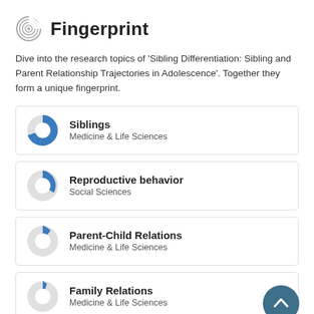Fingerprint
Dive into the research topics of 'Sibling Differentiation: Sibling and Parent Relationship Trajectories in Adolescence'. Together they form a unique fingerprint.
Siblings — Medicine & Life Sciences
Reproductive behavior — Social Sciences
Parent-Child Relations — Medicine & Life Sciences
Family Relations — Medicine & Life Sciences